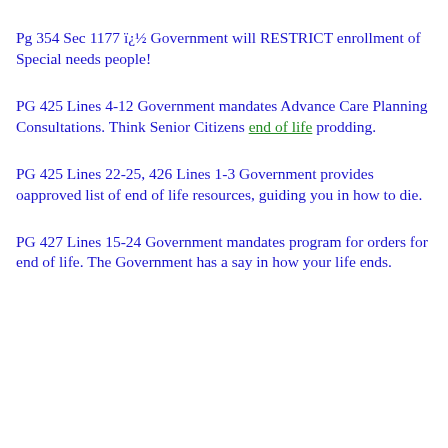Pg 354 Sec 1177 ï¿½ Government will RESTRICT enrollment of Special needs people!
PG 425 Lines 4-12 Government mandates Advance Care Planning Consultations. Think Senior Citizens end of life prodding.
PG 425 Lines 22-25, 426 Lines 1-3 Government provides oapproved list of end of life resources, guiding you in how to die.
PG 427 Lines 15-24 Government mandates program for orders for end of life. The Government has a say in how your life ends.